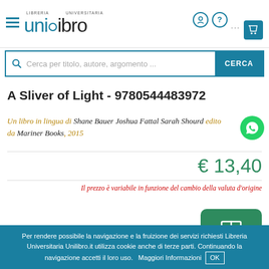[Figure (logo): Libreria Universitaria Unilibro logo with hamburger menu icon]
Cerca per titolo, autore, argomento ...
A Sliver of Light - 9780544483972
Un libro in lingua di Shane Bauer Joshua Fattal Sarah Shourd edito da Mariner Books, 2015
€ 13,40
Il prezzo è variabile in funzione del cambio della valuta d'origine
Per rendere possibile la navigazione e la fruizione dei servizi richiesti Libreria Universitaria Unilibro.it utilizza cookie anche di terze parti. Continuando la navigazione accetti il loro uso.   Maggiori Informazioni   OK